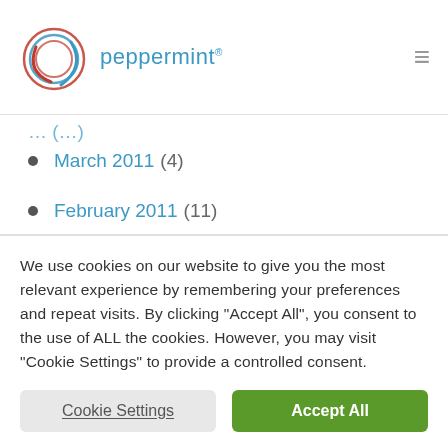peppermint
March 2011 (4)
February 2011 (11)
January 2011 (6)
December 2010 (6)
We use cookies on our website to give you the most relevant experience by remembering your preferences and repeat visits. By clicking "Accept All", you consent to the use of ALL the cookies. However, you may visit "Cookie Settings" to provide a controlled consent.